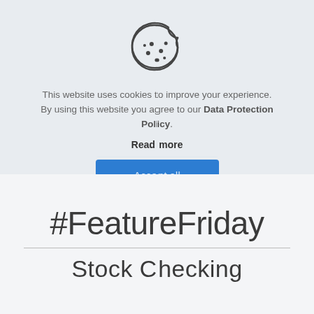[Figure (illustration): Cookie icon — a round cookie with a bite taken out of the top right, decorated with chocolate chip dots, drawn in a dark outline style on a light grey background.]
This website uses cookies to improve your experience. By using this website you agree to our Data Protection Policy.
Read more
Accept all
#FeatureFriday
Stock Checking